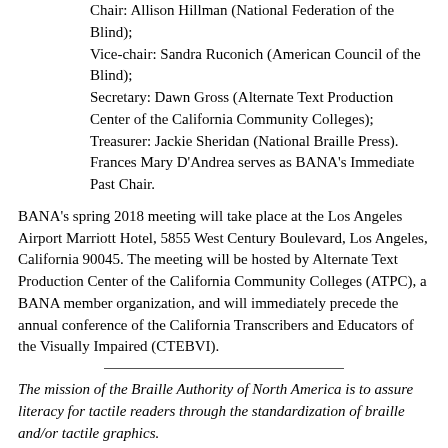Vice-chair: Sandra Ruconich (American Council of the Blind);
Secretary: Dawn Gross (Alternate Text Production Center of the California Community Colleges);
Treasurer: Jackie Sheridan (National Braille Press). Frances Mary D'Andrea serves as BANA's Immediate Past Chair.
BANA's spring 2018 meeting will take place at the Los Angeles Airport Marriott Hotel, 5855 West Century Boulevard, Los Angeles, California 90045. The meeting will be hosted by Alternate Text Production Center of the California Community Colleges (ATPC), a BANA member organization, and will immediately precede the annual conference of the California Transcribers and Educators of the Visually Impaired (CTEBVI).
The mission of the Braille Authority of North America is to assure literacy for tactile readers through the standardization of braille and/or tactile graphics.
You can follow the work of BANA by signing up for BANA-Announce, a one-way email list that disseminates news and information. To join this list, send a blank email message to bana-